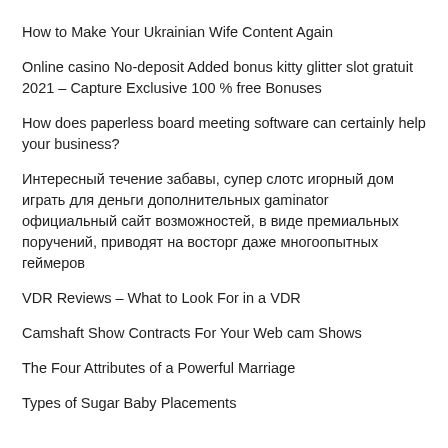How to Make Your Ukrainian Wife Content Again
Online casino No-deposit Added bonus kitty glitter slot gratuit 2021 – Capture Exclusive 100 % free Bonuses
How does paperless board meeting software can certainly help your business?
Интересный течение забавы, супер слотс игорный дом играть для деньги дополнительных gaminator официальный сайт возможностей, в виде премиальных поручений, приводят на восторг даже многоопытных геймеров
VDR Reviews – What to Look For in a VDR
Camshaft Show Contracts For Your Web cam Shows
The Four Attributes of a Powerful Marriage
Types of Sugar Baby Placements